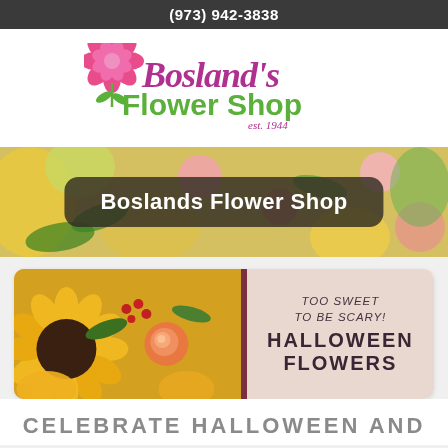(973) 942-3838
[Figure (logo): Bosland's Flower Shop logo with pink peony flower and est. 1944]
[Figure (photo): Hero banner with colorful flower arrangement background and dark rounded rectangle label reading 'Boslands Flower Shop']
[Figure (photo): Halloween flowers promotional card with sunflowers and roses on left, and text 'TOO SWEET TO BE SCARY! HALLOWEEN FLOWERS' on pink/mauve right panel with dark burgundy border]
CELEBRATE HALLOWEEN AND